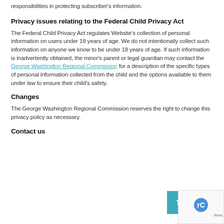responsibilities in protecting subscriber's information.
Privacy issues relating to the Federal Child Privacy Act
The Federal Child Privacy Act regulates Website's collection of personal information on users under 18 years of age. We do not intentionally collect such information on anyone we know to be under 18 years of age. If such information is inadvertently obtained, the minor's parent or legal guardian may contact the George Washington Regional Commission for a description of the specific types of personal information collected from the child and the options available to them under law to ensure their child's safety.
Changes
The George Washington Regional Commission reserves the right to change this privacy policy as necessary.
Contact us